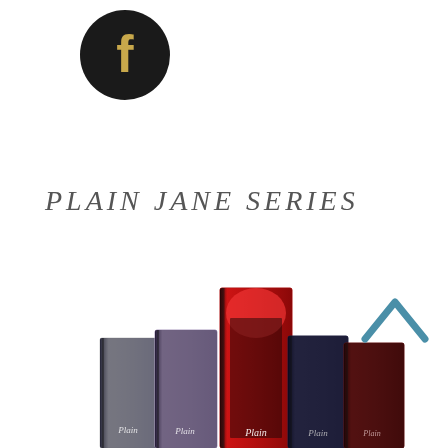[Figure (logo): Facebook logo: black circle with gold stylized letter f in center]
PLAIN JANE SERIES
[Figure (photo): Row of book covers from the Plain Jane Series, shown at an angle. Multiple books with dark dramatic covers featuring figures, red accents, and stylized 'Plain' text visible on spines. Center book is tallest, flanked by shorter books on each side.]
[Figure (illustration): Teal/steel blue upward-pointing chevron arrow in bottom right area]